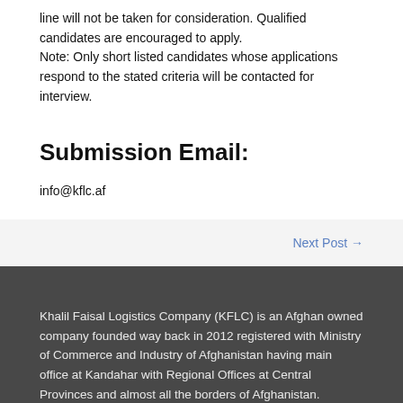line will not be taken for consideration. Qualified candidates are encouraged to apply.
Note: Only short listed candidates whose applications respond to the stated criteria will be contacted for interview.
Submission Email:
info@kflc.af
Next Post →
Khalil Faisal Logistics Company (KFLC) is an Afghan owned company founded way back in 2012 registered with Ministry of Commerce and Industry of Afghanistan having main office at Kandahar with Regional Offices at Central Provinces and almost all the borders of Afghanistan.